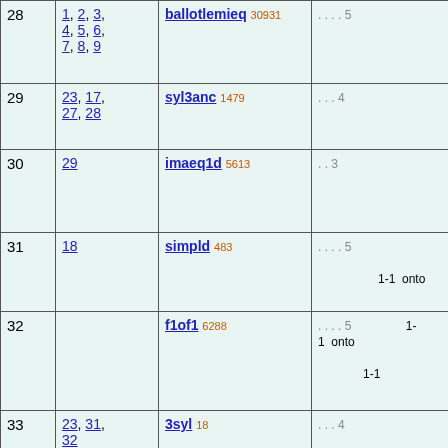| # | Links | Name | Info |
| --- | --- | --- | --- |
| 28 | 1, 2, 3, 4, 5, 6, 7, 8, 9 | ballotlemieq 30931 | . . . . 5 |
| 29 | 23, 17, 27, 28 | syl3anc 1479 | . . . 4 |
| 30 | 29 | imaeq1d 5613 | . . 3 |
| 31 | 18 | simpld 483 | . . . . 5  1-1  onto |
| 32 |  | f1of1 6288 | . . . . 5  1-1  onto  1-1 |
| 33 | 23, 31, 32 | 3syl 18 | . . . 4  1-1 |
| 34 |  | eldifi 3889 | . . . . 5 |
| 35 | 1, 2, 3 | ballotlemelo 30902 | . . . . . 6 |
|  |  |  |  |